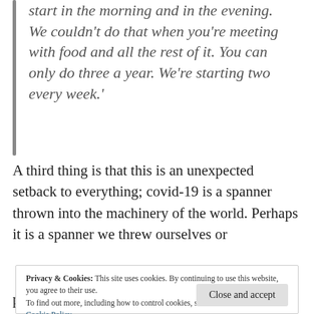start in the morning and in the evening. We couldn't do that when you're meeting with food and all the rest of it. You can only do three a year. We're starting two every week.'
A third thing is that this is an unexpected setback to everything; covid-19 is a spanner thrown into the machinery of the world. Perhaps it is a spanner we threw ourselves or
Privacy & Cookies: This site uses cookies. By continuing to use this website, you agree to their use.
To find out more, including how to control cookies, see here:
Cookie Policy
pleasant for the kneaded, gets yeast to places it